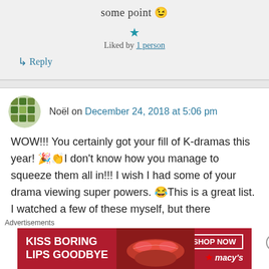some point 😉
★ Liked by 1 person
↳ Reply
Noël on December 24, 2018 at 5:06 pm
WOW!!! You certainly got your fill of K-dramas this year! 🎉👏I don't know how you manage to squeeze them all in!!! I wish I had some of your drama viewing super powers. 😂This is a great list. I watched a few of these myself, but there
Advertisements
[Figure (photo): Macy's advertisement banner: KISS BORING LIPS GOODBYE with SHOP NOW button and macys logo, red background with woman's lips]